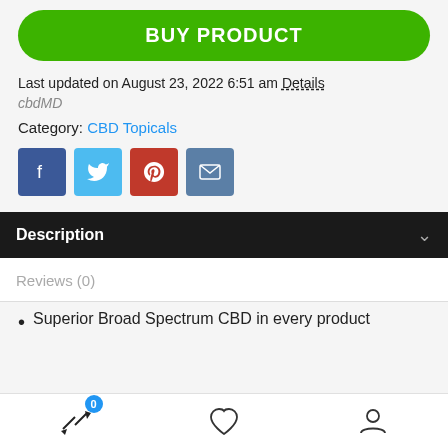BUY PRODUCT
Last updated on August 23, 2022 6:51 am Details
cbdMD
Category: CBD Topicals
[Figure (infographic): Social sharing icons: Facebook (blue), Twitter (light blue), Pinterest (red), Email (steel blue)]
Description
Reviews (0)
Superior Broad Spectrum CBD in every product